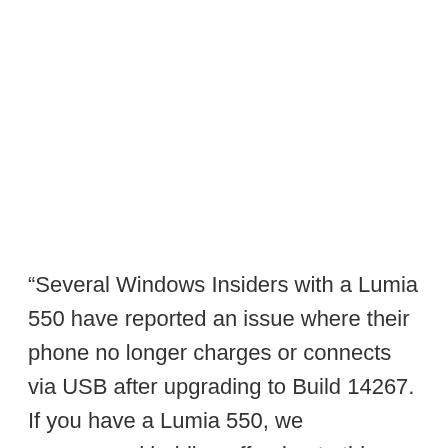“Several Windows Insiders with a Lumia 550 have reported an issue where their phone no longer charges or connects via USB after upgrading to Build 14267. If you have a Lumia 550, we recommend holding off going to this build. If you have hit this